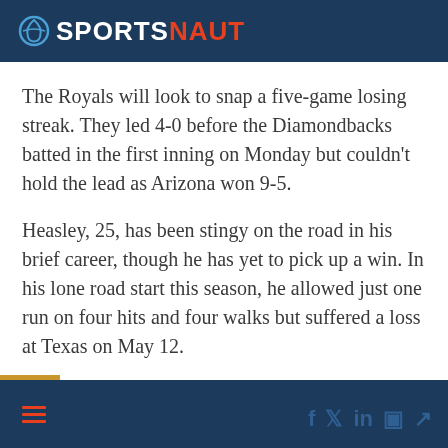SPORTSNAUT
The Royals will look to snap a five-game losing streak. They led 4-0 before the Diamondbacks batted in the first inning on Monday but couldn't hold the lead as Arizona won 9-5.
Heasley, 25, has been stingy on the road in his brief career, though he has yet to pick up a win. In his lone road start this season, he allowed just one run on four hits and four walks but suffered a loss at Texas on May 12.